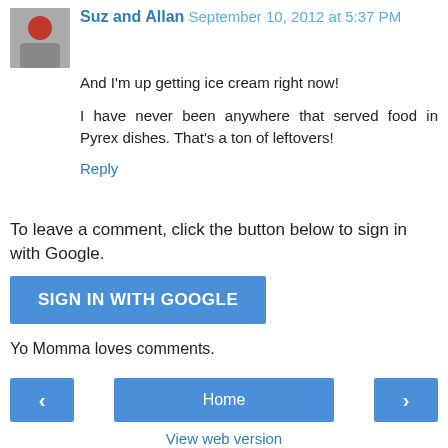Suz and Allan  September 10, 2012 at 5:37 PM
And I'm up getting ice cream right now!
I have never been anywhere that served food in Pyrex dishes. That's a ton of leftovers!
Reply
To leave a comment, click the button below to sign in with Google.
SIGN IN WITH GOOGLE
Yo Momma loves comments.
‹
Home
›
View web version
Powered by Blogger.